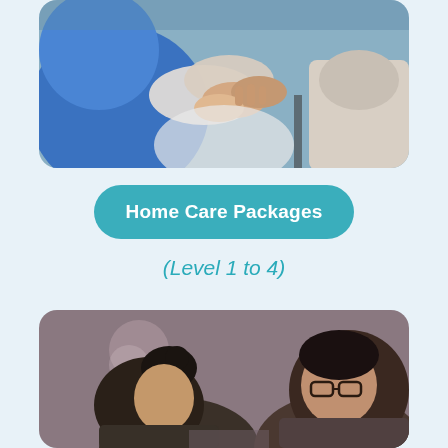[Figure (photo): A healthcare worker in blue clothing holds the hands of an elderly patient in a wheelchair, shown from above.]
Home Care Packages
(Level 1 to 4)
[Figure (photo): Two people sitting together, one with dark hair in a bun wearing glasses, appear to be in discussion in a dimly lit room.]